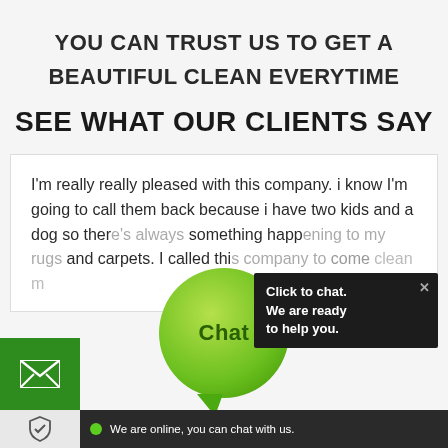YOU CAN TRUST US TO GET A BEAUTIFUL CLEAN EVERYTIME
SEE WHAT OUR CLIENTS SAY
I'm really really pleased with this company. i know I'm going to call them back because i have two kids and a dog so there's always something happening to my rugs and carpets. I called this company to come clean m
[Figure (screenshot): Live chat widget overlay with green chat bubble labeled 'Chat', a dark popup saying 'Click to chat. We are ready to help you.', and a bottom bar saying 'We are online, you can chat with us.']